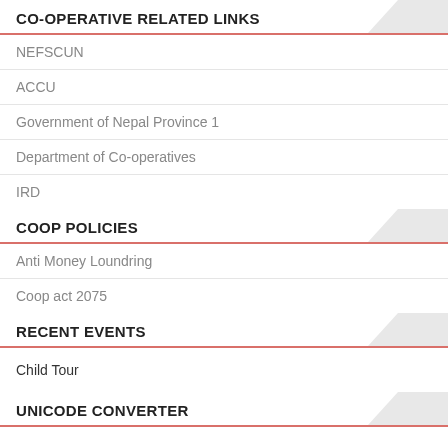CO-OPERATIVE RELATED LINKS
NEFSCUN
ACCU
Government of Nepal Province 1
Department of Co-operatives
IRD
COOP POLICIES
Anti Money Loundring
Coop act 2075
RECENT EVENTS
Child Tour
UNICODE CONVERTER